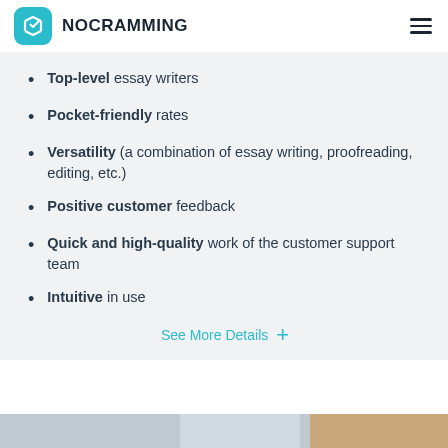NOCRAMMING
Top-level essay writers
Pocket-friendly rates
Versatility (a combination of essay writing, proofreading, editing, etc.)
Positive customer feedback
Quick and high-quality work of the customer support team
Intuitive in use
See More Details +
[Figure (photo): Bottom partial image of a desk/study scene]